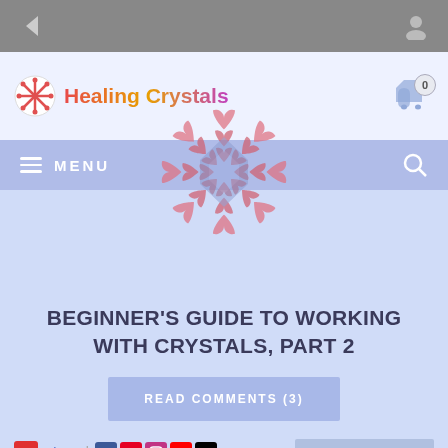[Figure (screenshot): Mobile browser top bar with back arrow and user profile icon on gray background]
Healing Crystals
[Figure (illustration): Snowflake made of pink heart shapes, decorative logo/illustration for the website]
MENU
BEGINNER'S GUIDE TO WORKING WITH CRYSTALS, PART 2
READ COMMENTS (3)
Share | social icons | ADVANCE SEARCH
So I Have My Crystals, Now